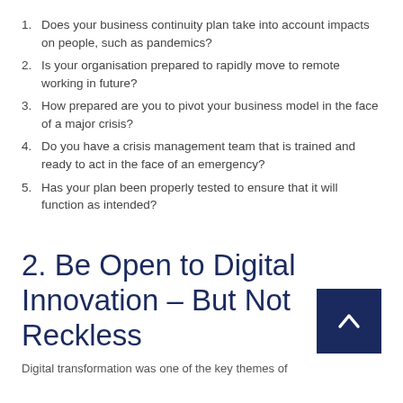Does your business continuity plan take into account impacts on people, such as pandemics?
Is your organisation prepared to rapidly move to remote working in future?
How prepared are you to pivot your business model in the face of a major crisis?
Do you have a crisis management team that is trained and ready to act in the face of an emergency?
Has your plan been properly tested to ensure that it will function as intended?
2. Be Open to Digital Innovation – But Not Reckless
Digital transformation was one of the key themes of